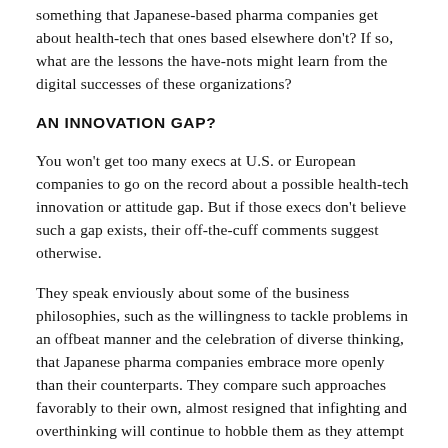something that Japanese-based pharma companies get about health-tech that ones based elsewhere don't? If so, what are the lessons the have-nots might learn from the digital successes of these organizations?
AN INNOVATION GAP?
You won't get too many execs at U.S. or European companies to go on the record about a possible health-tech innovation or attitude gap. But if those execs don't believe such a gap exists, their off-the-cuff comments suggest otherwise.
They speak enviously about some of the business philosophies, such as the willingness to tackle problems in an offbeat manner and the celebration of diverse thinking, that Japanese pharma companies embrace more openly than their counterparts. They compare such approaches favorably to their own, almost resigned that infighting and overthinking will continue to hobble them as they attempt to keep pace with the industry's historic transformation.
See also: What 10 innovation teams look like